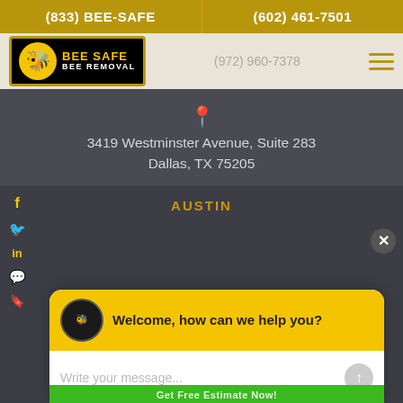(833) BEE-SAFE
(602) 461-7501
[Figure (logo): Bee Safe Bee Removal company logo with cartoon bee on black background with yellow border]
(972) 960-7378
3419 Westminster Avenue, Suite 283
Dallas, TX 75205
AUSTIN
Welcome, how can we help you?
Write your message...
Get Free Estimate Now!